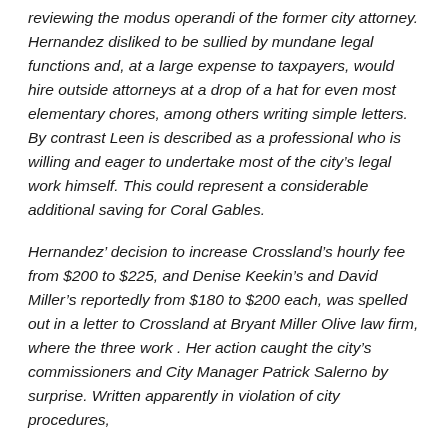reviewing  the modus operandi of the former city attorney. Hernandez disliked to be sullied by mundane legal functions and, at a large expense to taxpayers, would hire outside attorneys at a drop of a hat for even most elementary chores, among others writing simple letters. By contrast Leen is described as a professional  who is willing and eager to undertake most of the city's legal work himself. This could represent a considerable additional saving for Coral Gables.
Hernandez' decision to increase Crossland's hourly fee from $200 to $225, and Denise Keekin's and David Miller's reportedly from $180 to $200 each, was spelled out in a letter to Crossland at Bryant Miller Olive law firm, where the three work . Her action caught the city's commissioners and City Manager Patrick Salerno by surprise. Written apparently in violation of city procedures,